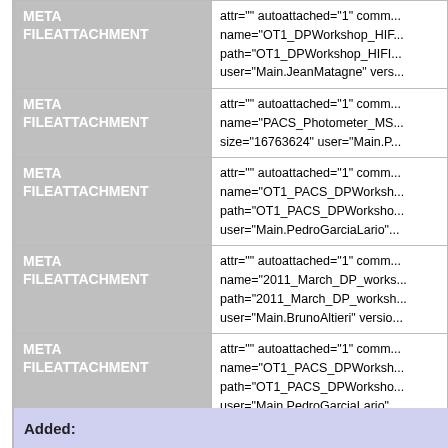| Type | Attributes |
| --- | --- |
| META FILEATTACHMENT | attr="" autoattached="1" comm... name="OT1_DPWorkshop_HIF... path="OT1_DPWorkshop_HIFI... user="Main.JeanMatagne" vers... |
| META FILEATTACHMENT | attr="" autoattached="1" comm... name="PACS_Photometer_MS... size="16763624" user="Main.P... |
| META FILEATTACHMENT | attr="" autoattached="1" comm... name="OT1_PACS_DPWorksh... path="OT1_PACS_DPWorksho... user="Main.PedroGarciaLario"... |
| META FILEATTACHMENT | attr="" autoattached="1" comm... name="2011_March_DP_works... path="2011_March_DP_worksh... user="Main.BrunoAltieri" versio... |
| META FILEATTACHMENT | attr="" autoattached="1" comm... name="OT1_PACS_DPWorksh... path="OT1_PACS_DPWorksho... user="Main.PedroGarciaLario"... |
Added: